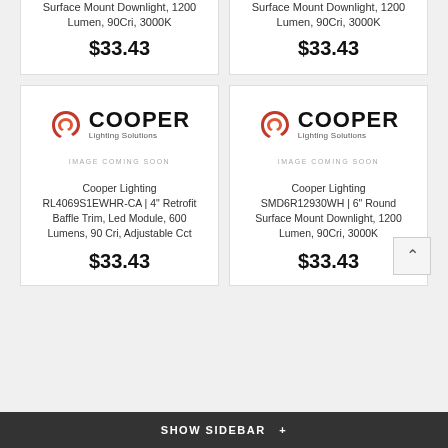Surface Mount Downlight, 1200 Lumen, 90Cri, 3000K
$33.43
Surface Mount Downlight, 1200 Lumen, 90Cri, 3000K
$33.43
[Figure (logo): Cooper Lighting Solutions logo with red swirl icon and bold COOPER text]
IMAGE COMING SOON
Cooper Lighting RL4069S1EWHR-CA | 4" Retrofit Baffle Trim, Led Module, 600 Lumens, 90 Cri, Adjustable Cct
$33.43
[Figure (logo): Cooper Lighting Solutions logo with red swirl icon and bold COOPER text]
IMAGE COMING SOON
Cooper Lighting SMD6R12930WH | 6" Round Surface Mount Downlight, 1200 Lumen, 90Cri, 3000K
$33.43
SHOW SIDEBAR +